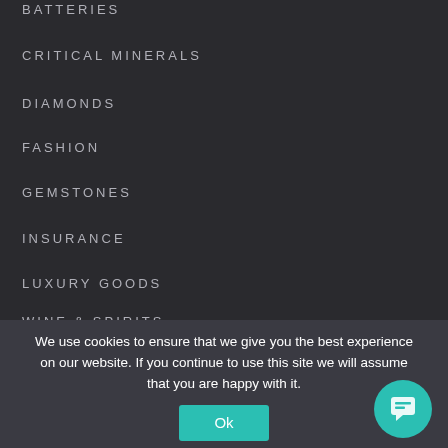BATTERIES
CRITICAL MINERALS
DIAMONDS
FASHION
GEMSTONES
INSURANCE
LUXURY GOODS
WINE & SPIRITS
We use cookies to ensure that we give you the best experience on our website. If you continue to use this site we will assume that you are happy with it.
Ok